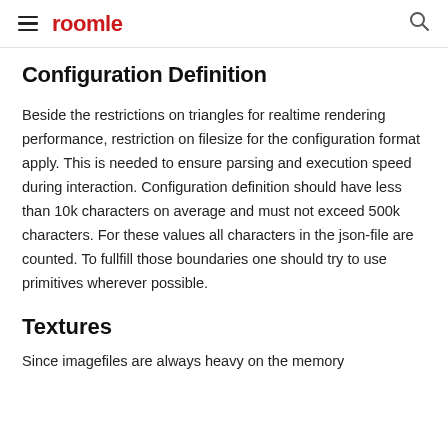roomle
Configuration Definition
Beside the restrictions on triangles for realtime rendering performance, restriction on filesize for the configuration format apply. This is needed to ensure parsing and execution speed during interaction. Configuration definition should have less than 10k characters on average and must not exceed 500k characters. For these values all characters in the json-file are counted. To fullfill those boundaries one should try to use primitives wherever possible.
Textures
Since imagefiles are always heavy on the memory